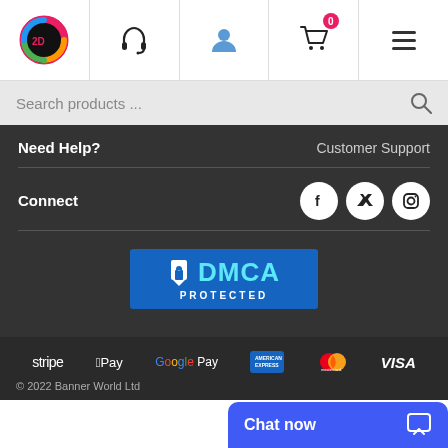[Figure (screenshot): Website header navigation with logo, headset icon, user icon, cart with 0 badge, and hamburger menu]
Search products ...
Need Help?
Customer Support
Connect
[Figure (logo): Social media icons: Facebook, Twitter, Instagram in white circles on dark background]
[Figure (logo): DMCA Protected badge]
[Figure (logo): Payment logos: stripe, Apple Pay, Google Pay, American Express, Mastercard, VISA]
© 2022 Banner World Ltd
Chat now